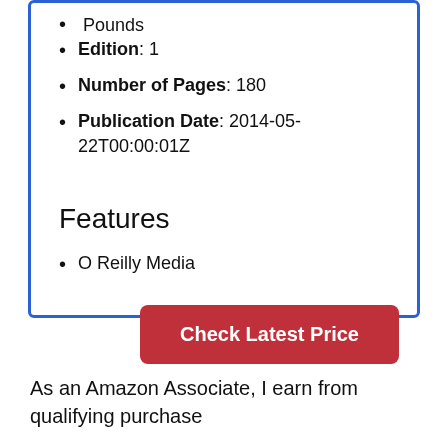Pounds
Edition: 1
Number of Pages: 180
Publication Date: 2014-05-22T00:00:01Z
Features
O Reilly Media
Check Latest Price
As an Amazon Associate, I earn from qualifying purchase